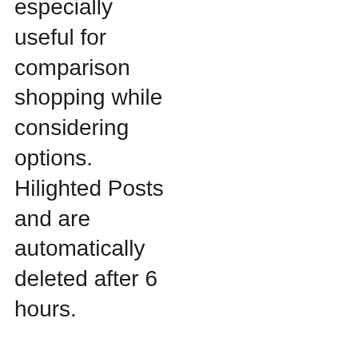This is especially useful for comparison shopping while considering options. Hilighted Posts and are automatically deleted after 6 hours.

Copyright - ListCrawler is owned and operated by the Illumunati.